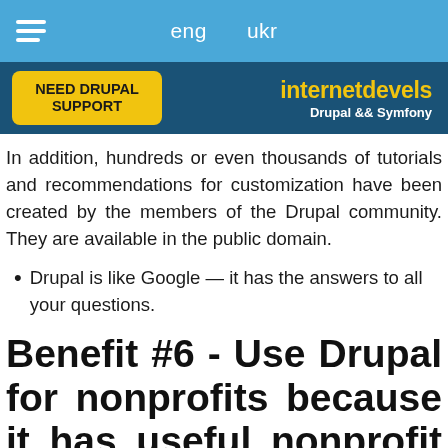eng   ukr
[Figure (logo): internetdevels Drupal && Symfony logo with 'NEED DRUPAL SUPPORT' yellow button on dark blue background]
In addition, hundreds or even thousands of tutorials and recommendations for customization have been created by the members of the Drupal community. They are available in the public domain.
Drupal is like Google — it has the answers to all your questions.
Benefit #6 - Use Drupal for nonprofits because it has useful nonprofit distributions